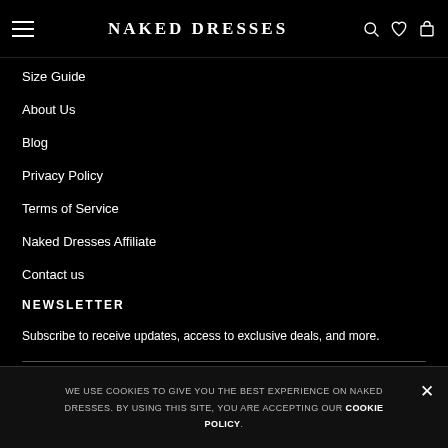NAKED DRESSES
Size Guide
About Us
Blog
Privacy Policy
Terms of Service
Naked Dresses Affiliate
Contact us
NEWSLETTER
Subscribe to receive updates, access to exclusive deals, and more.
WE USE COOKIES TO GIVE YOU THE BEST EXPERIENCE ON NAKED DRESSES. BY USING THIS SITE, YOU ARE ACCEPTING OUR COOKIE POLICY.